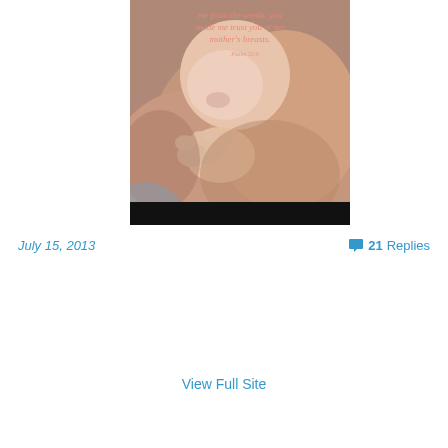[Figure (photo): Close-up photo of a newborn baby breastfeeding, with overlaid italic script text in pink/salmon color reading: 'me from the womb, you made me trust you at my mother's breasts.' with a black bar at the bottom of the image.]
July 15, 2013
21 Replies
View Full Site